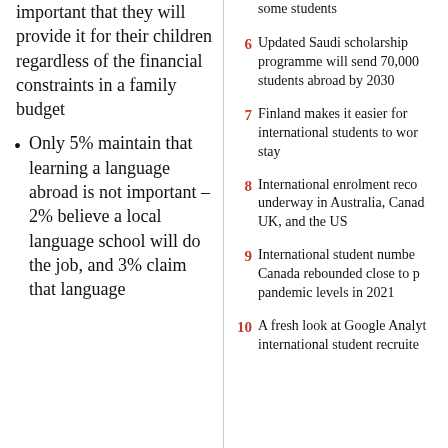important that they will provide it for their children regardless of the financial constraints in a family budget
Only 5% maintain that learning a language abroad is not important – 2% believe a local language school will do the job, and 3% claim that language
6 Updated Saudi scholarship programme will send 70,000 students abroad by 2030
7 Finland makes it easier for international students to work stay
8 International enrolment recovery underway in Australia, Canada, UK, and the US
9 International student numbers in Canada rebounded close to pre-pandemic levels in 2021
10 A fresh look at Google Analytics for international student recruiters